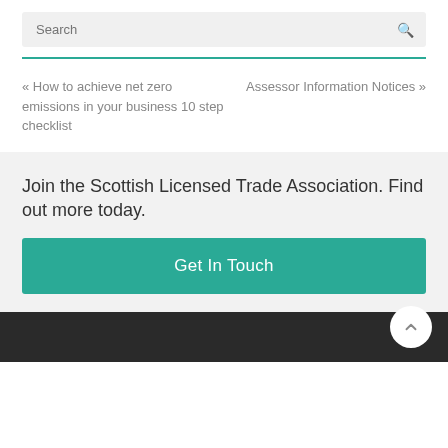Search
« How to achieve net zero emissions in your business 10 step checklist
Assessor Information Notices »
Join the Scottish Licensed Trade Association. Find out more today.
Get In Touch